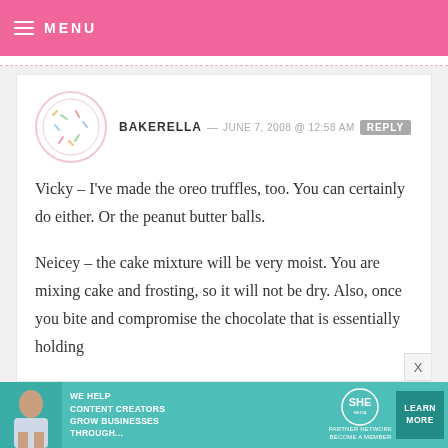MENU
BAKERELLA — JUNE 7, 2008 @ 12:58 AM  REPLY
Vicky – I've made the oreo truffles, too. You can certainly do either. Or the peanut butter balls.

Neicey – the cake mixture will be very moist. You are mixing cake and frosting, so it will not be dry. Also, once you bite and compromise the chocolate that is essentially holding
[Figure (infographic): SHE Partner Network advertisement banner: We help content creators grow businesses through...]